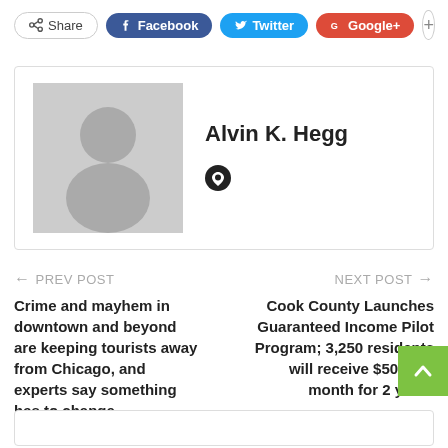[Figure (screenshot): Social share bar with Share, Facebook (blue), Twitter (cyan), Google+ (red), and plus buttons]
[Figure (illustration): Author profile box with gray placeholder avatar image on left and author name Alvin K. Hegg with a heart/pin icon on right]
Alvin K. Hegg
← PREV POST
Crime and mayhem in downtown and beyond are keeping tourists away from Chicago, and experts say something has to change
NEXT POST →
Cook County Launches Guaranteed Income Pilot Program; 3,250 residents will receive $500 per month for 2 years